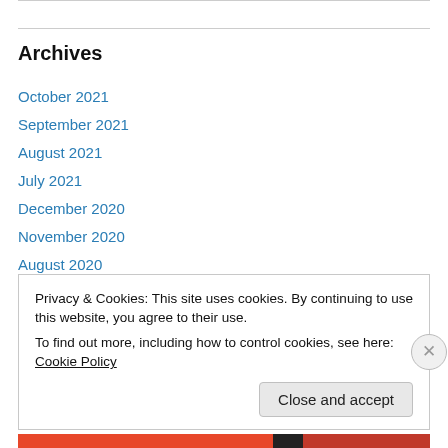Archives
October 2021
September 2021
August 2021
July 2021
December 2020
November 2020
August 2020
July 2020
May 2020
Privacy & Cookies: This site uses cookies. By continuing to use this website, you agree to their use.
To find out more, including how to control cookies, see here: Cookie Policy
Close and accept